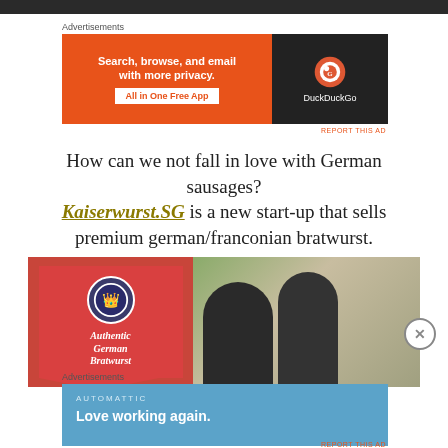[Figure (photo): Top dark image strip, partial page header image]
Advertisements
[Figure (other): DuckDuckGo advertisement banner: Search, browse, and email with more privacy. All in One Free App. DuckDuckGo logo on dark background.]
REPORT THIS AD
How can we not fall in love with German sausages? Kaiserwurst.SG is a new start-up that sells premium german/franconian bratwurst.
[Figure (photo): Photo of an outdoor food stall with a red banner sign reading 'Authentic German Bratwurst' with a crowned rooster logo, two women with dark hair looking down at something.]
Advertisements
[Figure (other): Automattic advertisement banner: blue background, AUTOMATTIC brand name, tagline 'Love working again.']
REPORT THIS AD